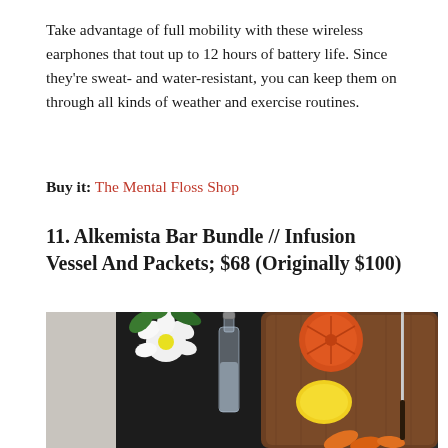Take advantage of full mobility with these wireless earphones that tout up to 12 hours of battery life. Since they're sweat- and water-resistant, you can keep them on through all kinds of weather and exercise routines.
Buy it: The Mental Floss Shop
11. Alkemista Bar Bundle // Infusion Vessel And Packets; $68 (Originally $100)
[Figure (photo): Overhead photo of a bar bundle: a glass infusion vessel on a dark round tray, alongside a wooden cutting board with a blood orange half, lemon, carrot pieces, and a chef's knife. White flower and greenery in background.]